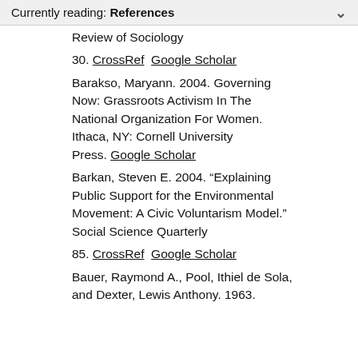Currently reading: References
Review of Sociology
30. CrossRef  Google Scholar
Barakso, Maryann. 2004. Governing Now: Grassroots Activism In The National Organization For Women. Ithaca, NY: Cornell University Press. Google Scholar
Barkan, Steven E. 2004. “Explaining Public Support for the Environmental Movement: A Civic Voluntarism Model.” Social Science Quarterly
85. CrossRef  Google Scholar
Bauer, Raymond A., Pool, Ithiel de Sola, and Dexter, Lewis Anthony. 1963.